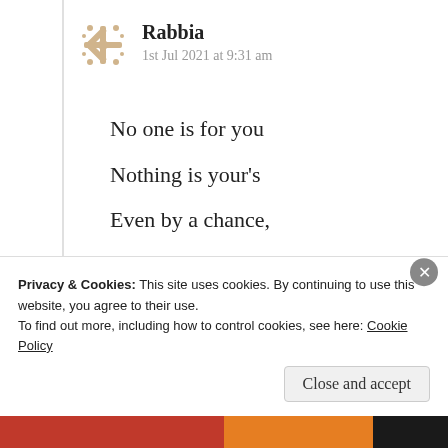Rabbia
1st Jul 2021 at 9:31 am
No one is for you
Nothing is your’s
Even by a chance,
Though in bad times
Never think in worse
But feel it’s verse

Just play your role
Privacy & Cookies: This site uses cookies. By continuing to use this website, you agree to their use.
To find out more, including how to control cookies, see here: Cookie Policy
Close and accept